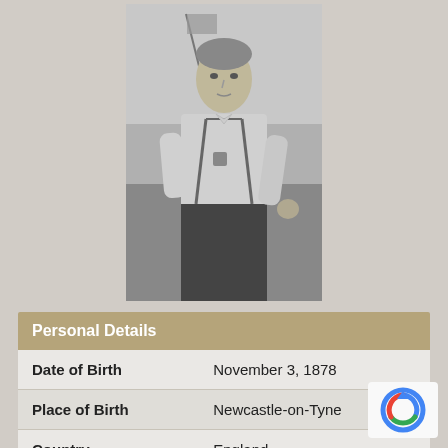[Figure (photo): Black and white photograph of a man standing outdoors, wearing a light shirt with suspenders and dark trousers. He is looking to the side with a flag visible behind him.]
| Personal Details |  |
| --- | --- |
| Date of Birth | November 3, 1878 |
| Place of Birth | Newcastle-on-Tyne |
| Country | England |